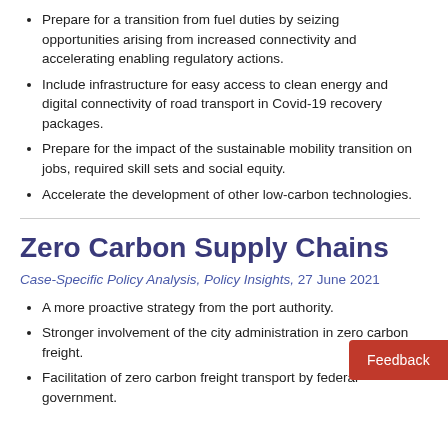Prepare for a transition from fuel duties by seizing opportunities arising from increased connectivity and accelerating enabling regulatory actions.
Include infrastructure for easy access to clean energy and digital connectivity of road transport in Covid-19 recovery packages.
Prepare for the impact of the sustainable mobility transition on jobs, required skill sets and social equity.
Accelerate the development of other low-carbon technologies.
Zero Carbon Supply Chains
Case-Specific Policy Analysis, Policy Insights, 27 June 2021
A more proactive strategy from the port authority.
Stronger involvement of the city administration in zero carbon freight.
Facilitation of zero carbon freight transport by federal government.